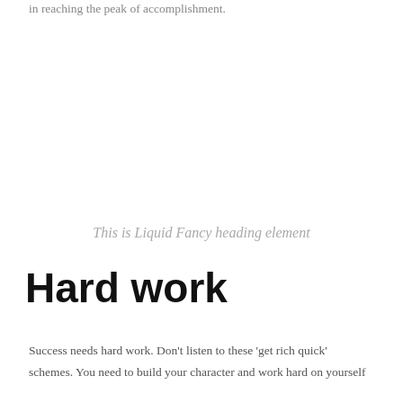in reaching the peak of accomplishment.
This is Liquid Fancy heading element
Hard work
Success needs hard work. Don't listen to these 'get rich quick' schemes. You need to build your character and work hard on yourself